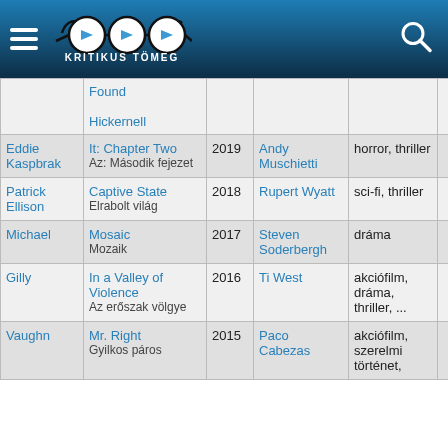Kritikus Tömeg
|  | Film | Év | Rendező | Műfaj | # | Értékelés |
| --- | --- | --- | --- | --- | --- | --- |
|  | Found / Hickernell |  |  |  |  |  |
| Eddie Kaspbrak | It: Chapter Two / Az: Második fejezet | 2019 | Andy Muschietti | horror, thriller | 284 | 3,0 |
| Patrick Ellison | Captive State / Elrabolt világ | 2018 | Rupert Wyatt | sci-fi, thriller | 56 | 2,5 |
| Michael | Mosaic / Mozaik | 2017 | Steven Soderbergh | dráma | 8 | ? |
| Gilly | In a Valley of Violence / Az erőszak völgye | 2016 | Ti West | akciófilm, dráma, thriller, ... | 71 | 3,2 |
| Vaughn | Mr. Right / Gyilkos páros | 2015 | Paco Cabezas | akciófilm, szerelmi történet, | 98 | 2,8 |